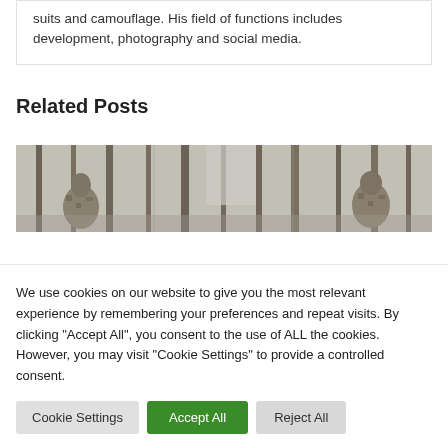suits and camouflage. His field of functions includes development, photography and social media.
Related Posts
[Figure (photo): Wide panoramic photo of people in camouflage standing among bare winter trees in a forest.]
We use cookies on our website to give you the most relevant experience by remembering your preferences and repeat visits. By clicking "Accept All", you consent to the use of ALL the cookies. However, you may visit "Cookie Settings" to provide a controlled consent.